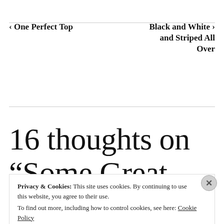‹ One Perfect Top
Black and White and Striped All Over ›
16 thoughts on “Some Great Slacks”
Privacy & Cookies: This site uses cookies. By continuing to use this website, you agree to their use.
To find out more, including how to control cookies, see here: Cookie Policy
Close and accept